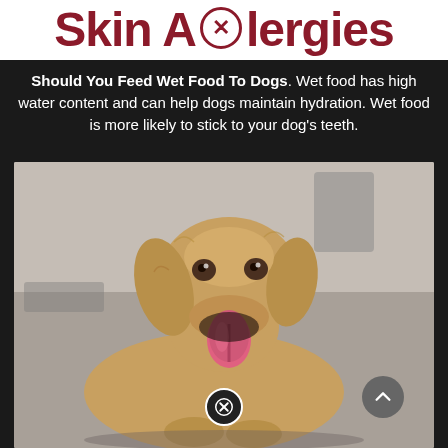Skin Allergies
Should You Feed Wet Food To Dogs. Wet food has high water content and can help dogs maintain hydration. Wet food is more likely to stick to your dog's teeth.
[Figure (photo): A golden Labrador Retriever dog with its tongue out, sitting on a floor, looking at the camera.]